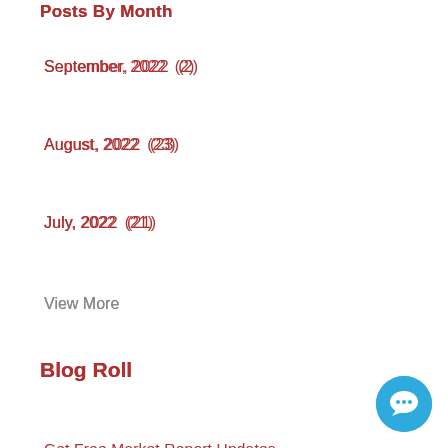Posts By Month
September, 2022  (2)
August, 2022  (23)
July, 2022  (21)
View More
Blog Roll
Get Free Market Report Updates
Luxury Homes For Sale
New Construction Homes For Sale
Homes For Sale With Swimming Pools
Homes For Sale On Acreage
Homes For Sale In Golden Eagle Plantation
Homes For Sale In Killearn Lakes Plantation
Homes For Sale In Killearn Estates